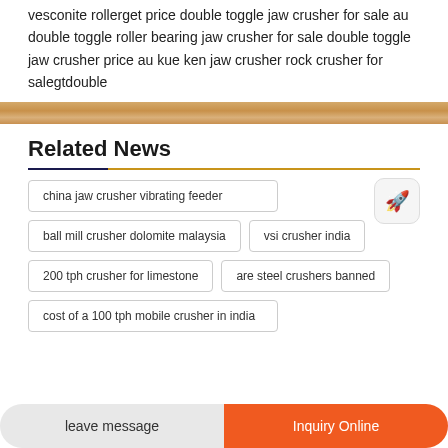vesconite rollerget price double toggle jaw crusher for sale au double toggle roller bearing jaw crusher for sale double toggle jaw crusher price au kue ken jaw crusher rock crusher for salegtdouble
[Figure (photo): Horizontal wood texture banner strip]
Related News
china jaw crusher vibrating feeder
ball mill crusher dolomite malaysia
vsi crusher india
200 tph crusher for limestone
are steel crushers banned
cost of a 100 tph mobile crusher in india